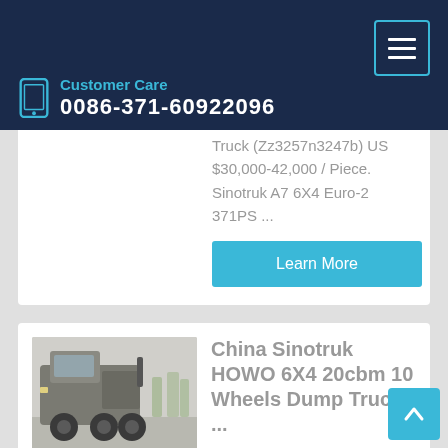Customer Care
0086-371-60922096
Truck (Zz3257n3247b) US $30,000-42,000 / Piece. Sinotruk A7 6X4 Euro-2 371PS ...
Learn More
[Figure (photo): Photo of a Sinotruk HOWO truck cab, gray/silver colored, parked outdoors]
China Sinotruk HOWO 6X4 20cbm 10 Wheels Dump Truck ...
SINOTRUK HOWO 6X4 dump truck, 18CBM / 20CBM 1. Cab: Brand-new two seats with one bed or two beds